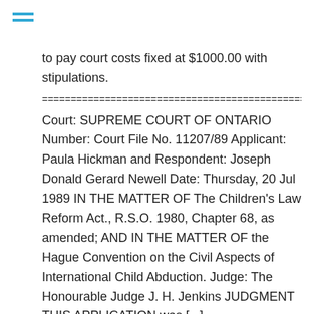to pay court costs fixed at $1000.00 with stipulations.
================================================
Court: SUPREME COURT OF ONTARIO Number: Court File No. 11207/89 Applicant: Paula Hickman and Respondent: Joseph Donald Gerard Newell Date: Thursday, 20 Jul 1989 IN THE MATTER OF The Children’s Law Reform Act., R.S.O. 1980, Chapter 68, as amended; AND IN THE MATTER OF the Hague Convention on the Civil Aspects of International Child Abduction. Judge: The Honourable Judge J. H. Jenkins JUDGMENT THIS APPLICATION was [...]